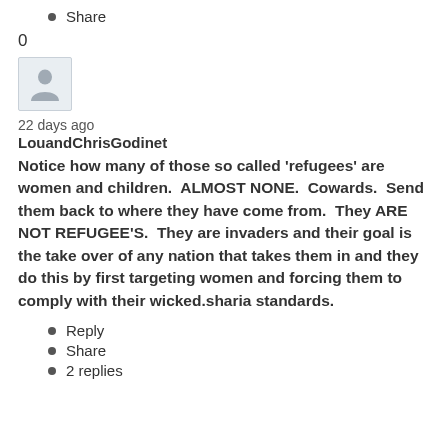Share
0
[Figure (illustration): Default user avatar icon — a silhouette of a person in a light blue/grey rounded square box]
22 days ago
LouandChrisGodinet
Notice how many of those so called 'refugees' are women and children.  ALMOST NONE.  Cowards.  Send them back to where they have come from.  They ARE NOT REFUGEE'S.  They are invaders and their goal is the take over of any nation that takes them in and they do this by first targeting women and forcing them to comply with their wicked.sharia standards.
Reply
Share
2 replies